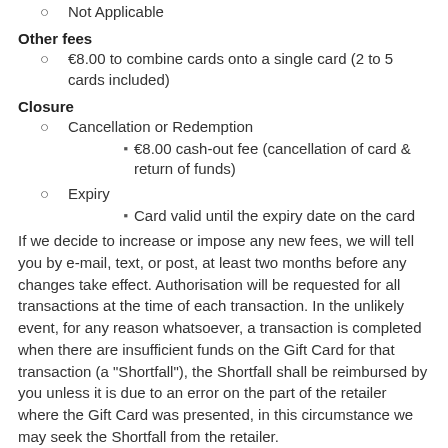Not Applicable
Other fees
€8.00 to combine cards onto a single card (2 to 5 cards included)
Closure
Cancellation or Redemption
€8.00 cash-out fee (cancellation of card & return of funds)
Expiry
Card valid until the expiry date on the card
If we decide to increase or impose any new fees, we will tell you by e-mail, text, or post, at least two months before any changes take effect. Authorisation will be requested for all transactions at the time of each transaction. In the unlikely event, for any reason whatsoever, a transaction is completed when there are insufficient funds on the Gift Card for that transaction (a "Shortfall"), the Shortfall shall be reimbursed by you unless it is due to an error on the part of the retailer where the Gift Card was presented, in this circumstance we may seek the Shortfall from the retailer.